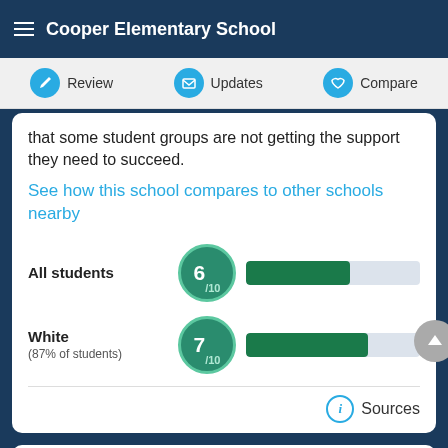Cooper Elementary School
Review   Updates   Compare
that some student groups are not getting the support they need to succeed.
See how this school compares to other schools nearby
[Figure (infographic): Score bar for All students: 6/10 with green bar ~60% filled]
[Figure (infographic): Score bar for White (87% of students): 7/10 with green bar ~70% filled]
Sources
EQUITY